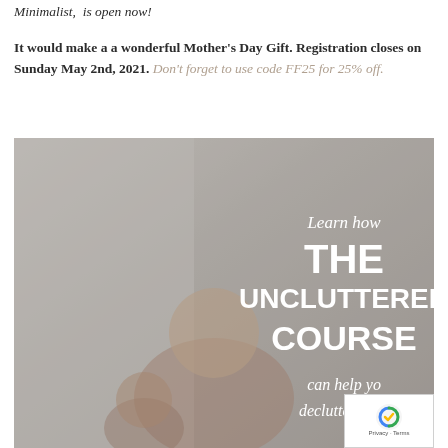Minimalist, is open now!
It would make a a wonderful Mother's Day Gift. Registration closes on Sunday May 2nd, 2021. Don't forget to use code FF25 for 25% off.
[Figure (photo): Promotional image for 'The Uncluttered Course' featuring a woman and child, with overlaid text: 'Learn how THE UNCLUTTERED COURSE can help you declutter your']